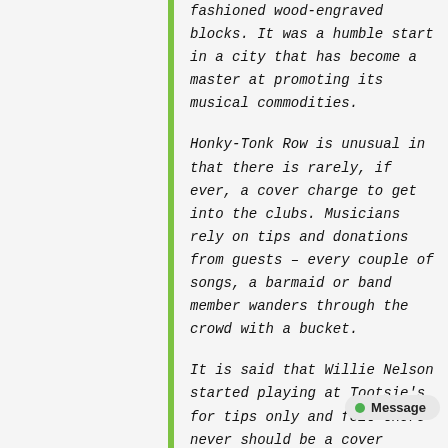fashioned wood-engraved blocks. It was a humble start in a city that has become a master at promoting its musical commodities.
Honky-Tonk Row is unusual in that there is rarely, if ever, a cover charge to get into the clubs. Musicians rely on tips and donations from guests – every couple of songs, a barmaid or band member wanders through the crowd with a bucket.
It is said that Willie Nelson started playing at Tootsie's for tips only and felt there never should be a cover charge to see live music on the row. As a result, visitors can wander from bar to bar and get a great sampling of Nashville's music scene. Locals, country-star wannabes and tourists all mix, mingle and shake their legs while musicians bounce from club to club with guitars in hand. The singers who don't have gigs scheduled stake out street corners and play for passing spectators.